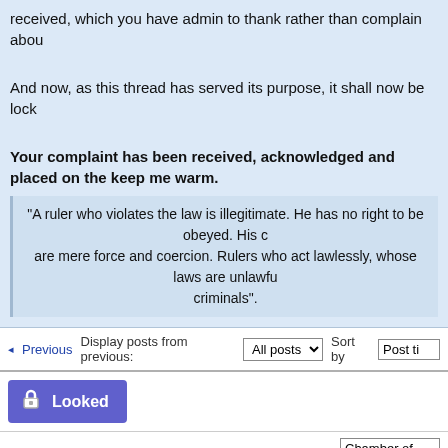received, which you have admin to thank rather than complain abou
And now, as this thread has served its purpose, it shall now be lock
Your complaint has been received, acknowledged and placed on the keep me warm.
"A ruler who violates the law is illegitimate. He has no right to be obeyed. His c are mere force and coercion. Rulers who act lawlessly, whose laws are unlawfu criminals".
Previous  Display posts from previous: All posts  Sort by Post ti
Looked
Return to Chamber of Horrors  Jump to: Chamber of Hor
WHO IS ONLINE
Users browsing this forum: No registered users and 1 guest
Board index  The team • Delete a
Powered by phpBB © 2000, 2002, 2005, 2007 phpBB